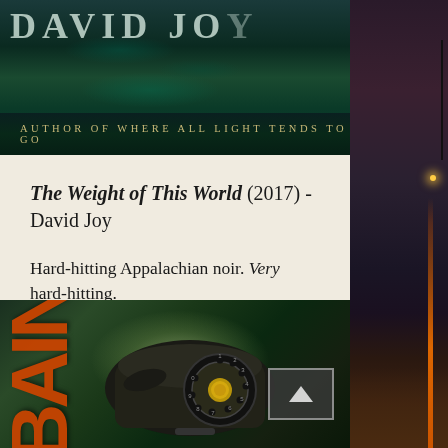[Figure (photo): Top portion of a book cover by David Joy, author of 'Where All Light Tends to Go', with teal/green textured background and author name at top]
The Weight of This World (2017) - David Joy
Hard-hitting Appalachian noir. Very hard-hitting.
[Figure (photo): Bottom book cover showing a rotary telephone on green-lit background with orange 'BAIN' text on the left side, and a scroll-up button overlay]